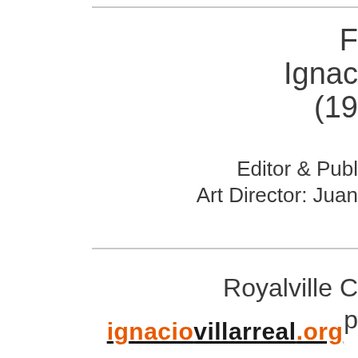F
Ignac
(19
Editor & Publ
Art Director: Juan
Royalville C
p
ignaciovillarreal.org